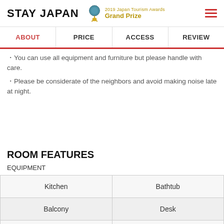STAY JAPAN — 2019 Japan Tourism Awards Grand Prize
ABOUT | PRICE | ACCESS | REVIEW
・You can use all equipment and furniture but please handle with care.
・Please be considerate of the neighbors and avoid making noise late at night.
ROOM FEATURES
EQUIPMENT
| Kitchen | Bathtub |
| --- | --- |
| Balcony | Desk |